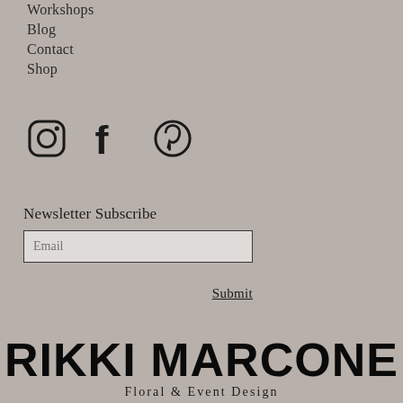Workshops
Blog
Contact
Shop
[Figure (illustration): Three social media icons: Instagram, Facebook, Pinterest]
Newsletter Subscribe
Email (input field placeholder)
Submit
RIKKI MARCONE
Floral & Event Design